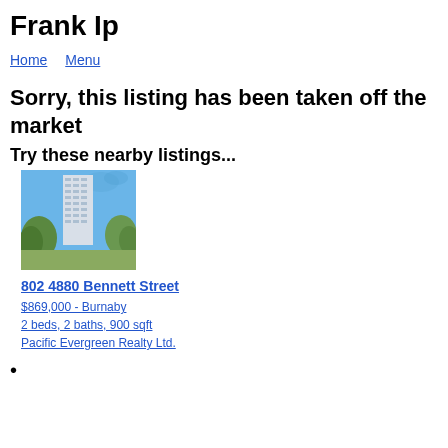Frank Ip
Home   Menu
Sorry, this listing has been taken off the market
Try these nearby listings...
[Figure (photo): Photo of a tall residential high-rise tower with trees in the foreground against a blue sky]
802 4880 Bennett Street
$869,000 - Burnaby
2 beds, 2 baths, 900 sqft
Pacific Evergreen Realty Ltd.